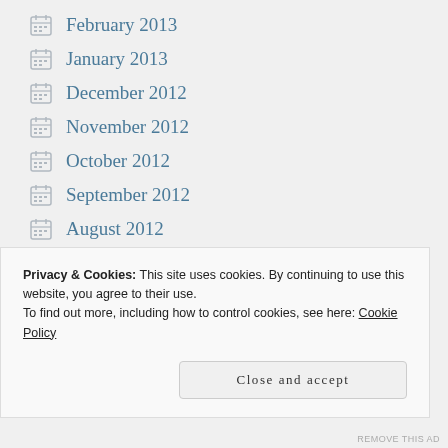February 2013
January 2013
December 2012
November 2012
October 2012
September 2012
August 2012
July 2012
June 2012
Privacy & Cookies: This site uses cookies. By continuing to use this website, you agree to their use.
To find out more, including how to control cookies, see here: Cookie Policy
Close and accept
REMOVE THIS AD